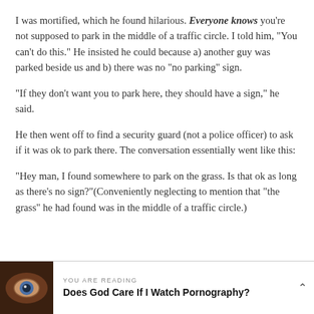I was mortified, which he found hilarious. Everyone knows you're not supposed to park in the middle of a traffic circle. I told him, "You can't do this." He insisted he could because a) another guy was parked beside us and b) there was no "no parking" sign.
"If they don't want you to park here, they should have a sign," he said.
He then went off to find a security guard (not a police officer) to ask if it was ok to park there. The conversation essentially went like this:
"Hey man, I found somewhere to park on the grass. Is that ok as long as there's no sign?"(Conveniently neglecting to mention that "the grass" he had found was in the middle of a traffic circle.)
[Figure (photo): Close-up photo of a human eye with dark skin, used as thumbnail]
YOU ARE READING
Does God Care If I Watch Pornography?